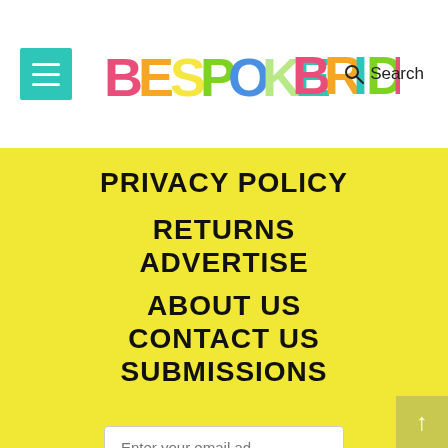BESPOKE BRIDE — Navigation menu and search header
PRIVACY POLICY
RETURNS
ADVERTISE
ABOUT US
CONTACT US
SUBMISSIONS
Enter your email ad
SIGN ME UP!
No compatible source was found for this